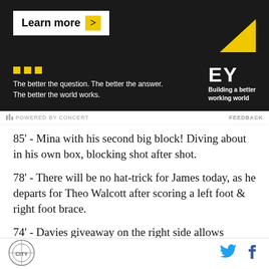[Figure (screenshot): EY (Ernst & Young) advertisement banner with dark background. Shows 'Learn more >' button, yellow squares, tagline 'The better the question. The better the answer. The better the world works.' and EY logo with 'Building a better working world' text.]
POWERED BY CONCERT    FEEDBACK
85' - Mina with his second big block! Diving about in his own box, blocking shot after shot.
78' - There will be no hat-trick for James today, as he departs for Theo Walcott after scoring a left foot & right foot brace.
74' - Davies giveaway on the right side allows Webster
Site logo | Twitter | Facebook